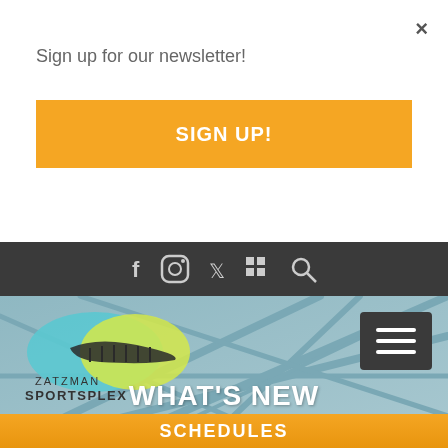Sign up for our newsletter!
SIGN UP!
×
[Figure (screenshot): Navigation bar with social media icons: Facebook, Instagram, Twitter, a grid/menu icon, and a search icon on dark background]
[Figure (logo): Zatzman Sportsplex logo with blue and yellow-green overlapping oval shapes and a dark fish-like silhouette, with text ZATZMAN SPORTSPLEX below]
[Figure (screenshot): Hamburger menu button (three horizontal lines) on dark background]
[Figure (photo): Overhead interior architectural photo of a sports facility with steel beam ceiling structure in muted teal/grey tones]
WHAT'S NEW
SCHEDULES